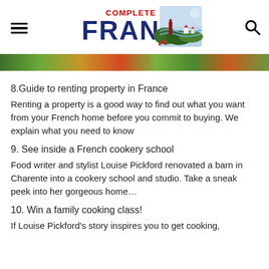COMPLETE FRANCE
[Figure (illustration): Complete France magazine logo with illustration of French countryside, wine bottle, and landscape]
[Figure (photo): Hero image strip showing colorful garden or landscape scene]
8.Guide to renting property in France
Renting a property is a good way to find out what you want from your French home before you commit to buying. We explain what you need to know
9. See inside a French cookery school
Food writer and stylist Louise Pickford renovated a barn in Charente into a cookery school and studio. Take a sneak peek into her gorgeous home…
10. Win a family cooking class!
If Louise Pickford's story inspires you to get cooking,